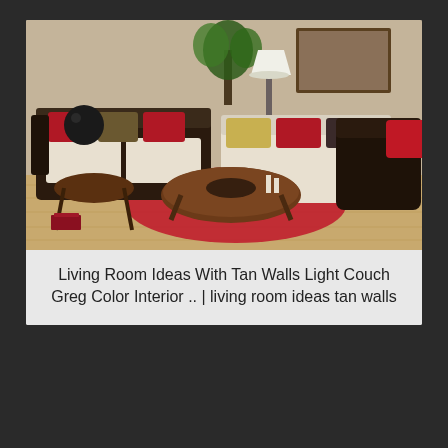[Figure (photo): A living room interior with dark brown leather and upholstered sofas/chairs with red, olive, and dark throw pillows, a round wooden coffee table, a red area rug on hardwood floor, a table lamp, and wall art in the background. Tan/beige walls visible.]
Living Room Ideas With Tan Walls Light Couch Greg Color Interior .. | living room ideas tan walls